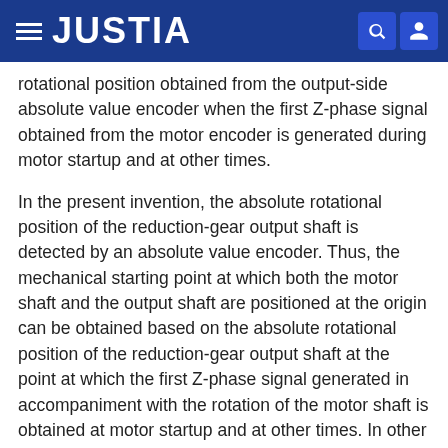JUSTIA
rotational position obtained from the output-side absolute value encoder when the first Z-phase signal obtained from the motor encoder is generated during motor startup and at other times.
In the present invention, the absolute rotational position of the reduction-gear output shaft is detected by an absolute value encoder. Thus, the mechanical starting point at which both the motor shaft and the output shaft are positioned at the origin can be obtained based on the absolute rotational position of the reduction-gear output shaft at the point at which the first Z-phase signal generated in accompaniment with the rotation of the motor shaft is obtained at motor startup and at other times. In other words, since the mechanical starting point is obtained by merely rotating the motor shaft 360° (with only a single rotation) at most, the time required to obtain the mechanical starting point